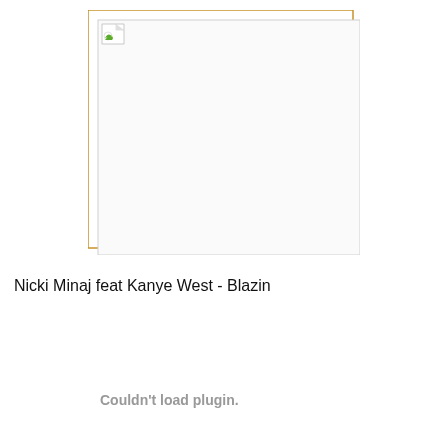[Figure (other): A broken/missing image placeholder with a gold/orange border rectangle and an inner lighter rectangle, with a small image icon in the top-left corner indicating the image could not be loaded.]
Nicki Minaj feat Kanye West - Blazin
Couldn't load plugin.